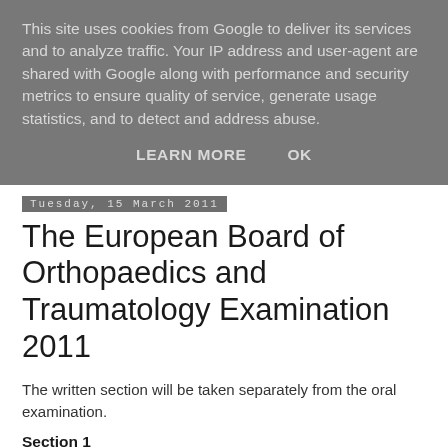This site uses cookies from Google to deliver its services and to analyze traffic. Your IP address and user-agent are shared with Google along with performance and security metrics to ensure quality of service, generate usage statistics, and to detect and address abuse.
LEARN MORE   OK
Tuesday, 15 March 2011
The European Board of Orthopaedics and Traumatology Examination 2011
The written section will be taken separately from the oral examination.
Section 1
The written section will be completed online and will consist of 100 multiple choice questions (MCQs) in the single correct answer format. It will be held in the different examination centres in Europe on 9 June 2011. Applicants